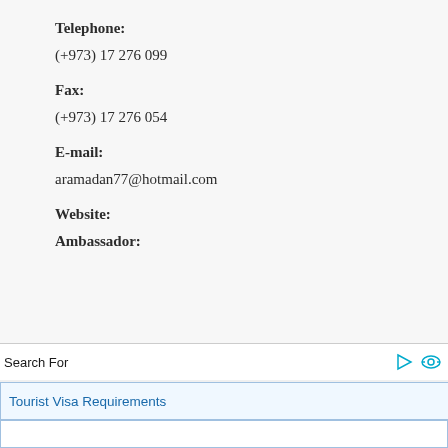Telephone:
(+973) 17 276 099
Fax:
(+973) 17 276 054
E-mail:
aramadan77@hotmail.com
Website:
Ambassador:
Search For
Tourist Visa Requirements